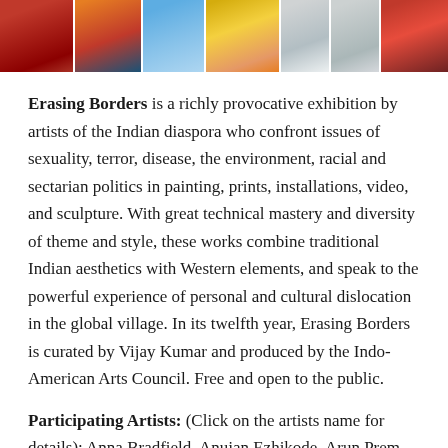[Figure (photo): A horizontal strip of multiple photographs showing colorful scenes including people in traditional Indian clothing, blue architectural elements, colorful paintings, and artwork.]
Erasing Borders is a richly provocative exhibition by artists of the Indian diaspora who confront issues of sexuality, terror, disease, the environment, racial and sectarian politics in painting, prints, installations, video, and sculpture. With great technical mastery and diversity of theme and style, these works combine traditional Indian aesthetics with Western elements, and speak to the powerful experience of personal and cultural dislocation in the global village. In its twelfth year, Erasing Borders is curated by Vijay Kumar and produced by the Indo-American Arts Council. Free and open to the public.
Participating Artists: (Click on the artists name for details): Anna Bradfield, Anujan Ezhikode, Arun Prem